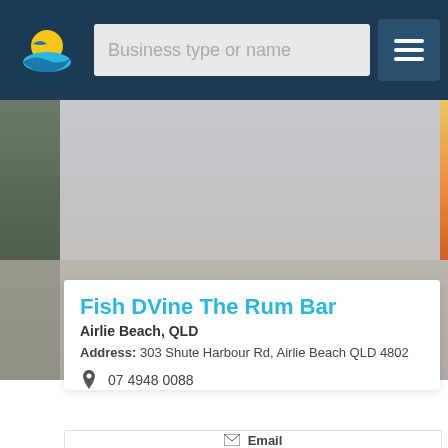Business type or name
[Figure (screenshot): Background beach/harbour photo behind content card]
Fish DVine The Rum Bar
Airlie Beach, QLD
Address: 303 Shute Harbour Rd, Airlie Beach QLD 4802
07 4948 0088
Email